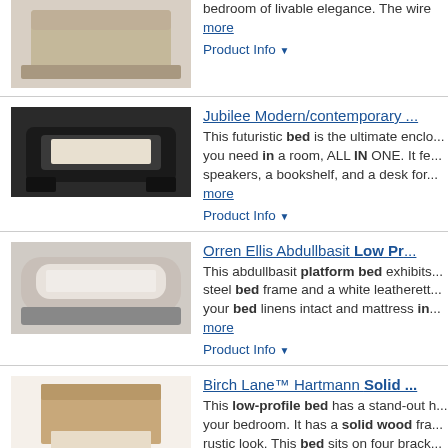[Figure (photo): Photo of a bed product (top, partial)]
bedroom of livable elegance. The wire ... more
Product Info ▼
Jubilee Modern/contemporary ...
[Figure (photo): Photo of Jubilee modern/contemporary bed]
This futuristic bed is the ultimate enclo... you need in a room, ALL IN ONE. It fe... speakers, a bookshelf, and a desk for... more
Product Info ▼
Orren Ellis Abdullbasit Low Pr...
[Figure (photo): Photo of Orren Ellis Abdullbasit platform bed]
This abdullbasit platform bed exhibits... steel bed frame and a white leatherett... your bed linens intact and mattress in... more
Product Info ▼
Birch Lane™ Hartmann Solid ...
[Figure (photo): Photo of Birch Lane Hartmann solid wood bed]
This low-profile bed has a stand-out h... your bedroom. It has a solid wood fra... rustic look. This bed sits on four brack... a ... more
Product Info ▼
Kamelya Millwood Pines Soli...
[Figure (photo): Photo of Kamelya Millwood Pines solid wood bed]
Made of Indonesia tropical mahogany... bed will provide ample support for yo...